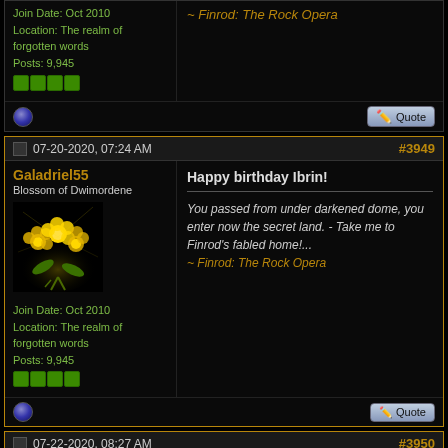Join Date: Oct 2010
Location: The realm of forgotten words
Posts: 9,945
~ Finrod: The Rock Opera
07-20-2020, 07:24 AM  #3949
Galadriel55
Blossom of Dwimordene
Join Date: Oct 2010
Location: The realm of forgotten words
Posts: 9,945
Happy birthday Ibrin!
You passed from under darkened dome, you enter now the secret land. - Take me to Finrod's fabled home!...
~ Finrod: The Rock Opera
07-22-2020, 08:27 AM  #3950
Galadriel55
Blossom of Dwimordene
Happy birthday Legate!
You passed from under